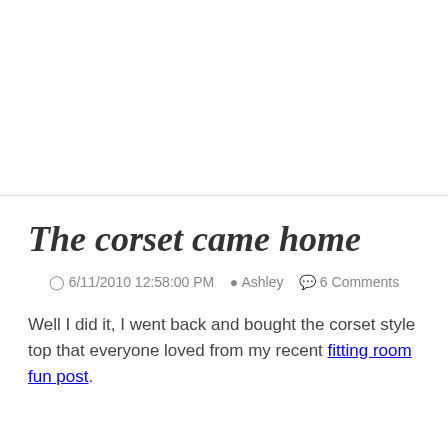[Figure (photo): Blank/white image placeholder area at the top of the blog post page]
The corset came home
⏱ 6/11/2010 12:58:00 PM  👤 Ashley  💬 6 Comments
Well I did it, I went back and bought the corset style top that everyone loved from my recent fitting room fun post.